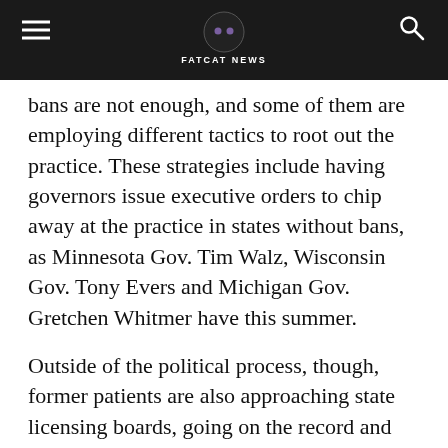FATCAT NEWS
bans are not enough, and some of them are employing different tactics to root out the practice. These strategies include having governors issue executive orders to chip away at the practice in states without bans, as Minnesota Gov. Tim Walz, Wisconsin Gov. Tony Evers and Michigan Gov. Gretchen Whitmer have this summer.
Outside of the political process, though, former patients are also approaching state licensing boards, going on the record and filing complaints against individual practitioners.
'Serious and lasting harm'